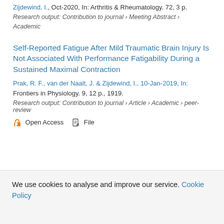Zijdewind, I., Oct-2020, In: Arthritis & Rheumatology. 72, 3 p. Research output: Contribution to journal › Meeting Abstract › Academic
Self-Reported Fatigue After Mild Traumatic Brain Injury Is Not Associated With Performance Fatigability During a Sustained Maximal Contraction
Prak, R. F., van der Naalt, J. & Zijdewind, I., 10-Jan-2019, In: Frontiers in Physiology. 9, 12 p., 1919. Research output: Contribution to journal › Article › Academic › peer-review
Open Access   File
We use cookies to analyse and improve our service. Cookie Policy